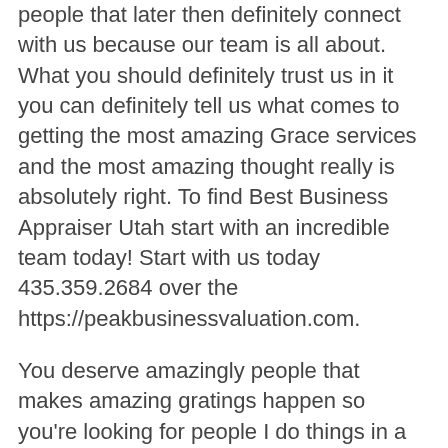people that later then definitely connect with us because our team is all about. What you should definitely trust us in it you can definitely tell us what comes to getting the most amazing Grace services and the most amazing thought really is absolutely right. To find Best Business Appraiser Utah start with an incredible team today! Start with us today 435.359.2684 over the https://peakbusinessvaluation.com.
You deserve amazingly people that makes amazing gratings happen so you're looking for people I do things in a very amazing a way that definitely connect with us what you definitely trust us and that definitely count when it comes to getting amazing a service a result the definitely connect with us. Our team is ready to make gratings happen in a very away so you're looking for people that really do care about doing things in a very amazing